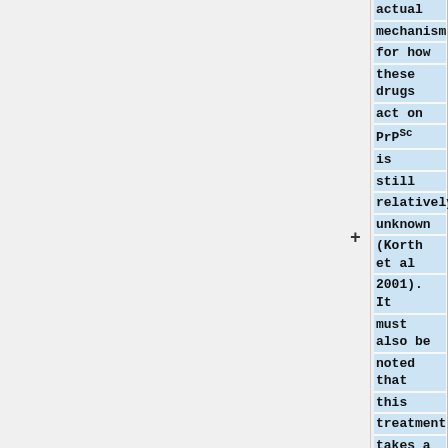actual mechanism for how these drugs act on PrP<sup>Sc</sup> is still relatively unknown (Korth et al 2001). It must also be noted that this treatment takes a few days before it is effective. Other possible